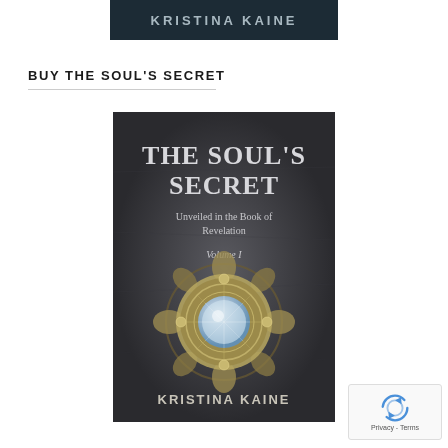[Figure (photo): Top portion of a book cover showing author name KRISTINA KAINE in large letters on a dark background]
BUY THE SOUL'S SECRET
[Figure (photo): Book cover of 'The Soul's Secret: Unveiled in the Book of Revelation, Volume I' by Kristina Kaine. Dark grey stone-textured background with a large ornate silver brooch/medallion featuring a crystal center. White serif title text at top, author name in sans-serif at bottom.]
[Figure (logo): Google reCAPTCHA badge with spinning arrows logo and Privacy - Terms text]